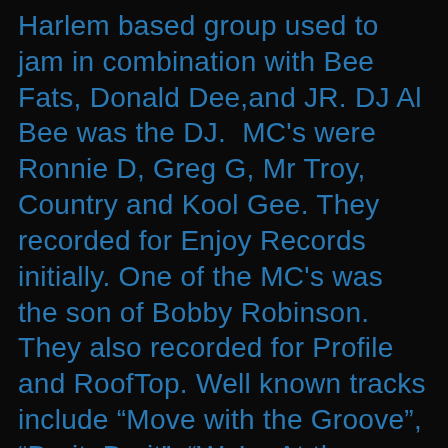Harlem based group used to jam in combination with Bee Fats, Donald Dee,and JR. DJ Al Bee was the DJ.  MC's were Ronnie D, Greg G, Mr Troy, Country and Kool Gee. They recorded for Enjoy Records initially. One of the MC's was the son of Bobby Robinson. They also recorded for Profile and RoofTop. Well known tracks include “Move with the Groove”, “Do it, Do it”, “We’re At the Party”, and “Throwdown”. They had a style that was more suited for rocking parties then winning MC battles. They were guests on the Pumpkin and the profile all-stars record “Here Comes That Beat”. Also released the 1986 single on Danya Records “Get Busy”/“Stomp”. They also submitted a record for the Profile Christmas